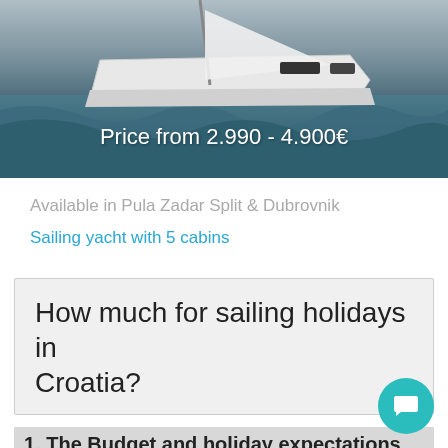[Figure (photo): Sailing yacht cutting through rough ocean waves with 'Price from 2.990 - 4.900€' text overlay]
Available in Pula Zadar Split & Dubrovnik
Sailing yacht with 5 cabins
How much for sailing holidays in Croatia?
1. The Budget and holiday expectations
Book yacht charter that suits your travelling style and budget.
Should I book a sailboat or catamaran?